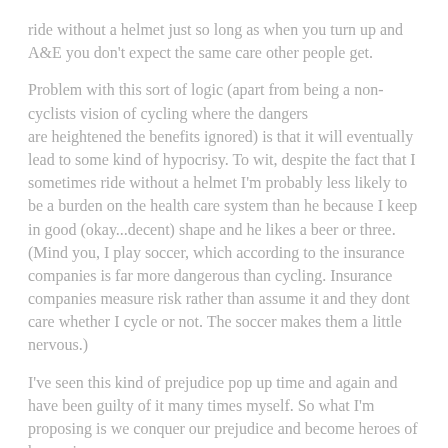ride without a helmet just so long as when you turn up and A&E you don't expect the same care other people get.
Problem with this sort of logic (apart from being a non-cyclists vision of cycling where the dangers are heightened the benefits ignored) is that it will eventually lead to some kind of hypocrisy. To wit, despite the fact that I sometimes ride without a helmet I'm probably less likely to be a burden on the health care system than he because I keep in good (okay...decent) shape and he likes a beer or three. (Mind you, I play soccer, which according to the insurance companies is far more dangerous than cycling. Insurance companies measure risk rather than assume it and they dont care whether I cycle or not. The soccer makes them a little nervous.)
I've seen this kind of prejudice pop up time and again and have been guilty of it many times myself. So what I'm proposing is we conquer our prejudice and become heroes of hypocrisy.
I have a close mate who thinks obese and/or smoking people should also have health care limited to them. Problem he's